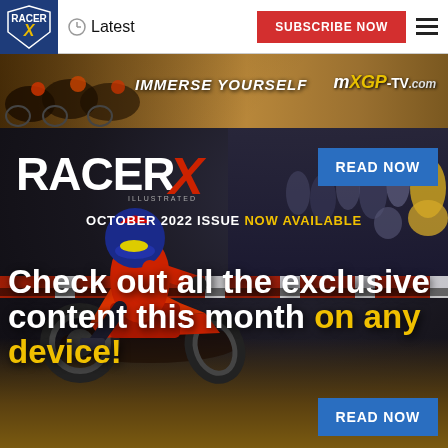Racer X | Latest | SUBSCRIBE NOW
[Figure (photo): MXGP-TV.com advertisement banner: motocross riders racing, text IMMERSE YOURSELF, logo MXGP-TV.com]
[Figure (photo): Racer X magazine October 2022 issue promotional banner. Dark arena background with motocross rider cornering on dirt track. Text: RACER X logo, READ NOW button, OCTOBER 2022 ISSUE NOW AVAILABLE, Check out all the exclusive content this month on any device!, READ NOW button at bottom.]
OCTOBER 2022 ISSUE NOW AVAILABLE
Check out all the exclusive content this month on any device!